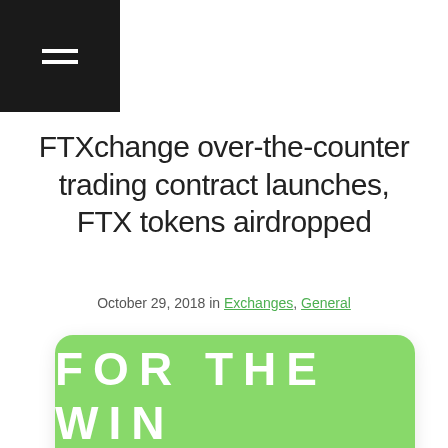≡ (hamburger menu)
FTXchange over-the-counter trading contract launches, FTX tokens airdropped
October 29, 2018 in Exchanges, General
[Figure (illustration): Green rounded-rectangle card with bold white text 'FOR THE WIN', subtitle 'FTXchange Launch', and a white globe icon below, on a white background. A partial purple circle is visible at the bottom right corner.]